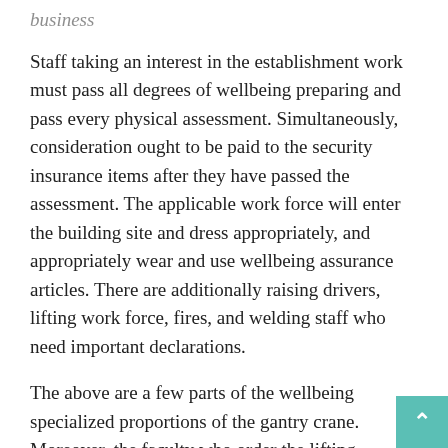business
Staff taking an interest in the establishment work must pass all degrees of wellbeing preparing and pass every physical assessment. Simultaneously, consideration ought to be paid to the security insurance items after they have passed the assessment. The applicable work force will enter the building site and dress appropriately, and appropriately wear and use wellbeing assurance articles. There are additionally raising drivers, lifting work force, fires, and welding staff who need important declarations.
The above are a few parts of the wellbeing specialized proportions of the gantry crane. Moreover, the faculty who order the lifting hardware ought to be comfortable with the working surface condition and stay away from contact with electrical and other gear. Give exceptional consideration to the contact with high-voltage lines, and guarantee that the base good ways from the high-voltage line is 3m. At the point when different individuals are occupied with lifting